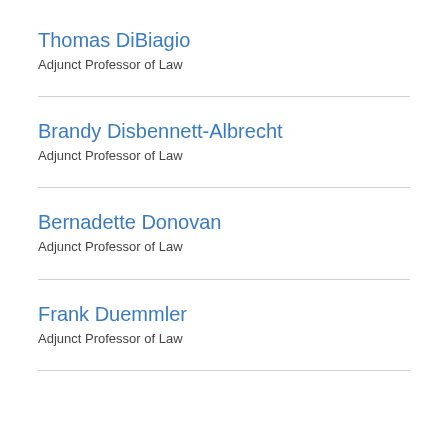Thomas DiBiagio
Adjunct Professor of Law
Brandy Disbennett-Albrecht
Adjunct Professor of Law
Bernadette Donovan
Adjunct Professor of Law
Frank Duemmler
Adjunct Professor of Law